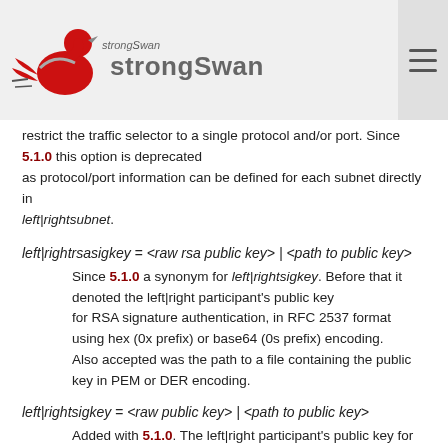strongSwan
restrict the traffic selector to a single protocol and/or port. Since 5.1.0 this option is deprecated as protocol/port information can be defined for each subnet directly in left|rightsubnet.
left|rightrsasigkey = <raw rsa public key> | <path to public key>
Since 5.1.0 a synonym for left|rightsigkey. Before that it denoted the left|right participant's public key for RSA signature authentication, in RFC 2537 format using hex (0x prefix) or base64 (0s prefix) encoding. Also accepted was the path to a file containing the public key in PEM or DER encoding.
left|rightsigkey = <raw public key> | <path to public key>
Added with 5.1.0. The left|right participant's public key for public key signature authentication, in PKCS#1 format using using hex (0x prefix) or base64 (0s prefix) encoding. With the optional dns: or ssh: prefix in front of 0x or 0s, the public key is expected in either the RFC 3110 (not the full RR, only the RSA key part) or